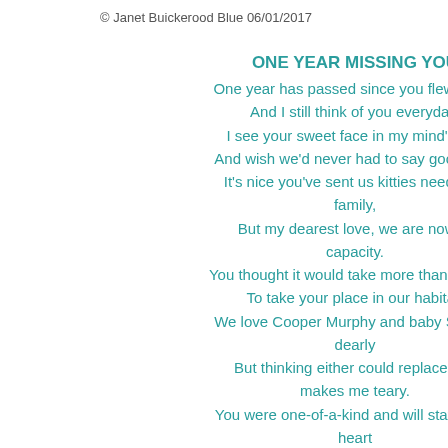© Janet Buickerood Blue 06/01/2017
ONE YEAR MISSING YOU
One year has passed since you flew away,
And I still think of you everyday.
I see your sweet face in my mind's eye
And wish we'd never had to say good-bye.
It's nice you've sent us kitties needing a family,
But my dearest love, we are now at capacity.
You thought it would take more than one cat
To take your place in our habitat.
We love Cooper Murphy and baby Sawyer dearly
But thinking either could replace you makes me teary.
You were one-of-a-kind and will stay in my heart
Until the day I join you and we're no longer apart.
When once again I can hold you in my arms
Sandee  Decem...
I'm thankful that found such joy he
Have a fabulous the kitties. ♥
Sandee recently
The Florida Fu
Great poem! Tha week!!! Whoo ho
The Florida Furki